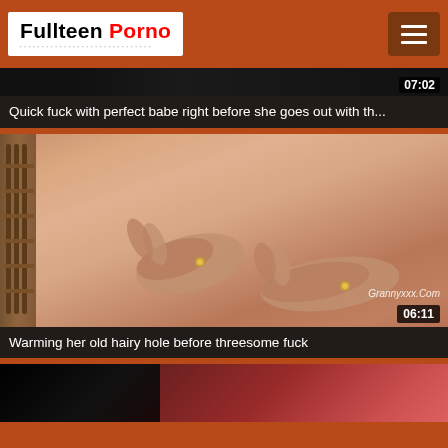Fullteen Porno
[Figure (screenshot): Video thumbnail for adult video, dark image, duration badge showing 07:02]
Quick fuck with perfect babe right before she goes out with th...
[Figure (screenshot): Video thumbnail showing massage/skin close-up with hands, watermark 'Grannyxxx.com', duration badge 06:11]
Warming her old hairy hole before threesome fuck
[Figure (screenshot): Partial video thumbnail at bottom of page, dark image with reddish tones]